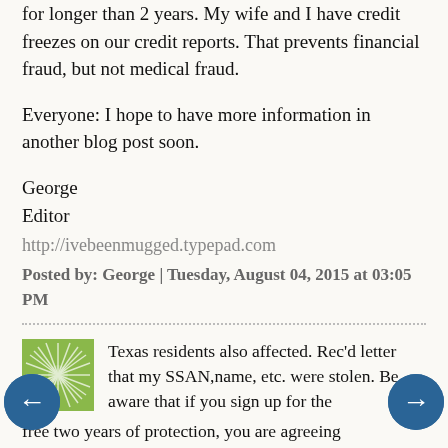for longer than 2 years. My wife and I have credit freezes on our credit reports. That prevents financial fraud, but not medical fraud.
Everyone: I hope to have more information in another blog post soon.
George
Editor
http://ivebeenmugged.typepad.com
Posted by: George | Tuesday, August 04, 2015 at 03:05 PM
Texas residents also affected. Rec'd letter that my SSAN,name, etc. were stolen. Be aware that if you sign up for the free two years of protection, you are agreeing